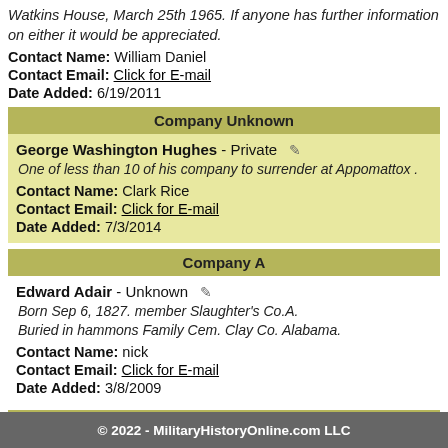Watkins House, March 25th 1965. If anyone has further information on either it would be appreciated.
Contact Name: William Daniel
Contact Email: Click for E-mail
Date Added: 6/19/2011
Company Unknown
George Washington Hughes - Private
One of less than 10 of his company to surrender at Appomattox .
Contact Name: Clark Rice
Contact Email: Click for E-mail
Date Added: 7/3/2014
Company A
Edward Adair - Unknown
Born Sep 6, 1827. member Slaughter's Co.A.
Buried in hammons Family Cem. Clay Co. Alabama.
Contact Name: nick
Contact Email: Click for E-mail
Date Added: 3/8/2009
Company A
© 2022 - MilitaryHistoryOnline.com LLC